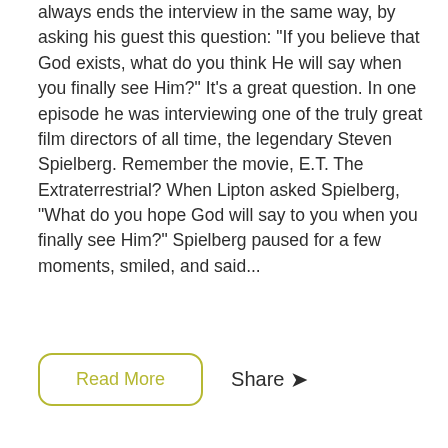always ends the interview in the same way, by asking his guest this question: "If you believe that God exists, what do you think He will say when you finally see Him?" It's a great question. In one episode he was interviewing one of the truly great film directors of all time, the legendary Steven Spielberg. Remember the movie, E.T. The Extraterrestrial? When Lipton asked Spielberg, "What do you hope God will say to you when you finally see Him?" Spielberg paused for a few moments, smiled, and said...
Read More
Share